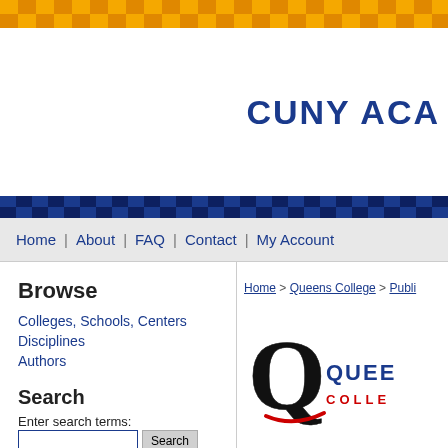[Figure (other): Orange and gold checkerboard decorative top banner]
CUNY ACA
[Figure (other): Blue checkerboard decorative mid banner]
Home | About | FAQ | Contact | My Account
Browse
Colleges, Schools, Centers
Disciplines
Authors
Search
Enter search terms:
Home > Queens College > Publi
[Figure (logo): Queens College logo with stylized Q and text QUEENS COLLEGE]